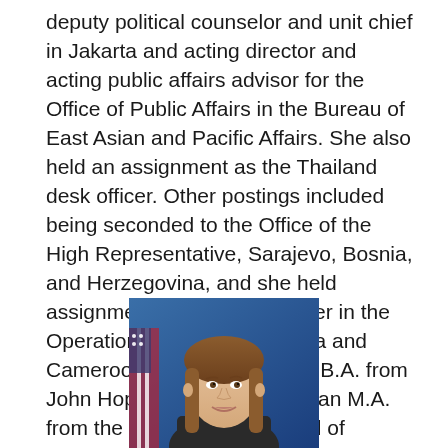deputy political counselor and unit chief in Jakarta and acting director and acting public affairs advisor for the Office of Public Affairs in the Bureau of East Asian and Pacific Affairs. She also held an assignment as the Thailand desk officer. Other postings included being seconded to the Office of the High Representative, Sarajevo, Bosnia, and Herzegovina, and she held assignments as a watch officer in the Operations Center in Australia and Cameroon. Higgins earned a B.A. from John Hopkins University and an M.A. from the Paul H. Nitze School of Advanced International Studies. She speaks French, Indonesian, and Bosnian.
[Figure (photo): Professional headshot portrait of a woman with straight brown hair, wearing a dark jacket, posed in front of an American flag with a blue background.]